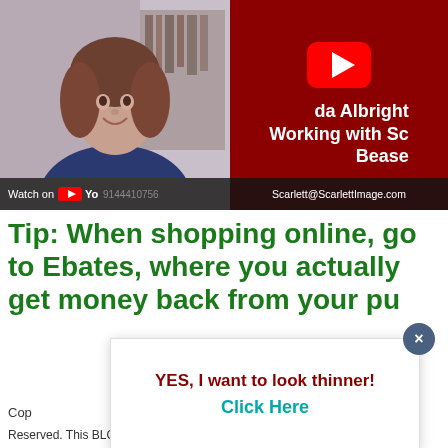[Figure (screenshot): YouTube video thumbnail showing a woman smiling on the left side (video call style), and on the right a dark red YouTube card with play button icon and text 'da Albright Working with Sc Bease'. Below left is a 'Watch on YouTube' bar with phone number. Below right shows email Scarlett@ScarlettImage.com.]
Tip: When shopping online, go to Ebates, where you actually get money back from your pu...
YES, I want to look thinner!
Click Here
Cop...
Reserved. This BLOG claims no credit for any